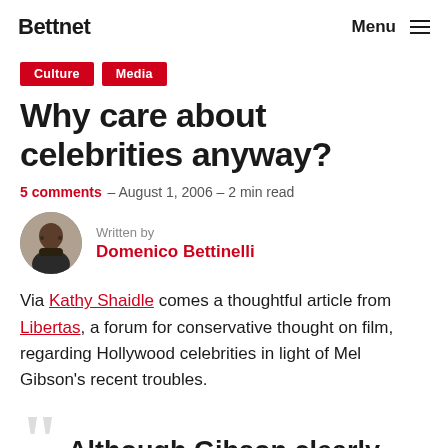Bettnet   Menu
Culture   Media
Why care about celebrities anyway?
5 comments – August 1, 2006 – 2 min read
Written by Domenico Bettinelli
Via Kathy Shaidle comes a thoughtful article from Libertas, a forum for conservative thought on film, regarding Hollywood celebrities in light of Mel Gibson's recent troubles.
Although Gibson clearly